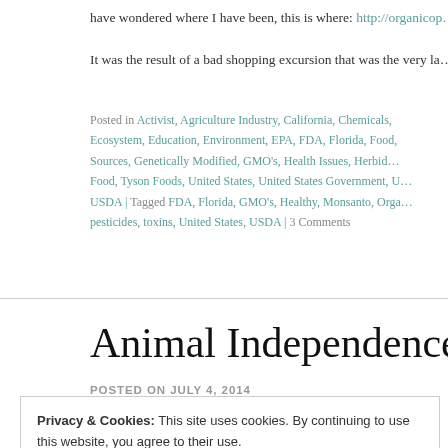have wondered where I have been, this is where: http://organicop…
It was the result of a bad shopping excursion that was the very la…
Posted in Activist, Agriculture Industry, California, Chemicals, Ecosystem, Education, Environment, EPA, FDA, Florida, Food, Sources, Genetically Modified, GMO's, Health Issues, Herbicide, Food, Tyson Foods, United States, United States Government, U… USDA | Tagged FDA, Florida, GMO's, Healthy, Monsanto, Orga… pesticides, toxins, United States, USDA | 3 Comments
Animal Independence Da…
POSTED ON JULY 4, 2014
Privacy & Cookies: This site uses cookies. By continuing to use this website, you agree to their use.
To find out more, including how to control cookies, see here: Cookie Policy
Close and accept